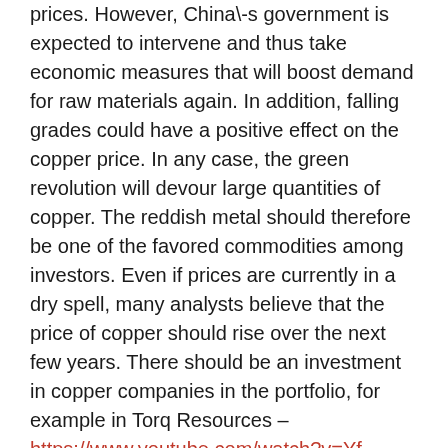prices. However, China\-s government is expected to intervene and thus take economic measures that will boost demand for raw materials again. In addition, falling grades could have a positive effect on the copper price. In any case, the green revolution will devour large quantities of copper. The reddish metal should therefore be one of the favored commodities among investors. Even if prices are currently in a dry spell, many analysts believe that the price of copper should rise over the next few years. There should be an investment in copper companies in the portfolio, for example in Torq Resources – https://www.youtube.com/watch?v=Yf-0L2au5ik&t=143s . Gold and copper are contained in the company\-s three projects in Chile, including the Margarita iron-oxide-copper-gold project.
Most modern electronic products, including lithium-ion batteries, contain nickel. Nickel is irreplaceable, especially in mass-produced batteries that require high energy density and